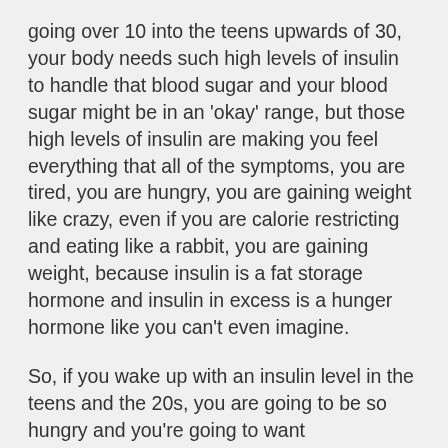going over 10 into the teens upwards of 30, your body needs such high levels of insulin to handle that blood sugar and your blood sugar might be in an 'okay' range, but those high levels of insulin are making you feel everything that all of the symptoms, you are tired, you are hungry, you are gaining weight like crazy, even if you are calorie restricting and eating like a rabbit, you are gaining weight, because insulin is a fat storage hormone and insulin in excess is a hunger hormone like you can't even imagine.
So, if you wake up with an insulin level in the teens and the 20s, you are going to be so hungry and you're going to want carbohydrates because that's what insulin signals your body to do. As soon as you eat that carb, that is going straight over as fat, even if you're running a marathon, even if you're burning all of the calories, you're putting this about 300 calories…